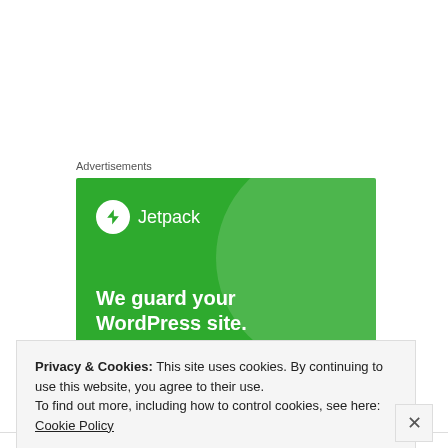Advertisements
[Figure (illustration): Jetpack advertisement banner with green background, large light-green circle, Jetpack logo (white circle with lightning bolt icon and 'Jetpack' text), and bold white text reading 'We guard your WordPress site.']
Privacy & Cookies: This site uses cookies. By continuing to use this website, you agree to their use.
To find out more, including how to control cookies, see here: Cookie Policy
Close and accept